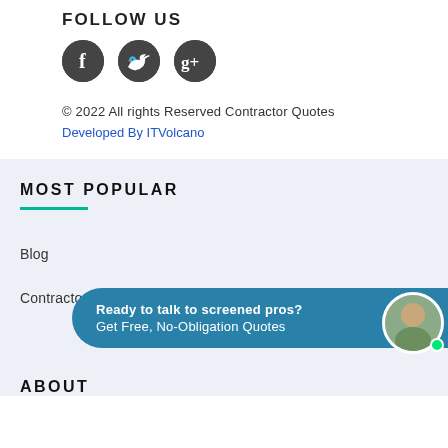FOLLOW US
[Figure (illustration): Three social media icons: Facebook, Twitter, and Google+, each in dark circular buttons]
© 2022 All rights Reserved Contractor Quotes
Developed By ITVolcano
MOST POPULAR
Blog
Contractor Licenses by State
Ready to talk to screened pros? Get Free, No-Obligation Quotes
ABOUT